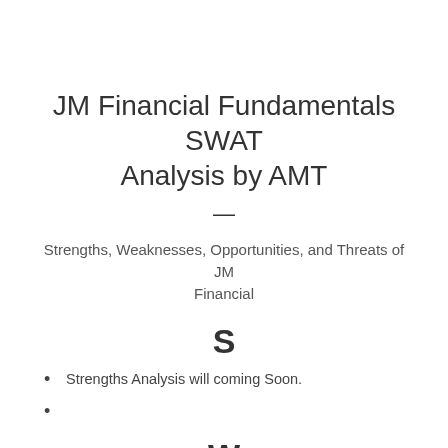JM Financial Fundamentals SWAT Analysis by AMT
Strengths, Weaknesses, Opportunities, and Threats of JM Financial
S
Strengths Analysis will coming Soon.
W
Weakness Analysis will coming Soon.